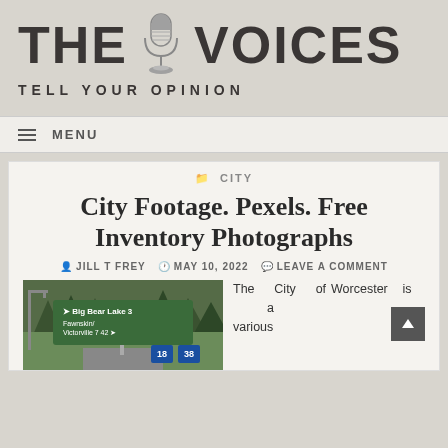[Figure (logo): The Voices - Tell Your Opinion logo with microphone graphic]
≡ MENU
📁 CITY
City Footage. Pexels. Free Inventory Photographs
JILL T FREY  MAY 10, 2022  LEAVE A COMMENT
[Figure (photo): Road sign showing directions to Big Bear Lake 3, Fawnskin/Victorville 7/42, with route shields 18 and 38, surrounded by trees]
The City of Worcester is a various